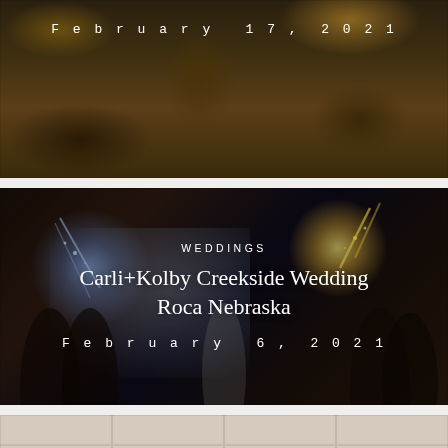[Figure (photo): Dark moody outdoor photo with bokeh foliage in warm amber tones, partially cropped at top of page. White text 'February 17, 2021' in monospaced typewriter font overlaid.]
[Figure (photo): Night wedding reception photo showing couple kissing while guests hold sparklers creating colorful smoke and light effects. Text overlay reads 'WEDDINGS', 'Carli+Kolby Creekside Wedding Roca Nebraska', 'February 6, 2021'.]
[Figure (photo): Interior light and bright photo partially visible at bottom of page, cropped.]